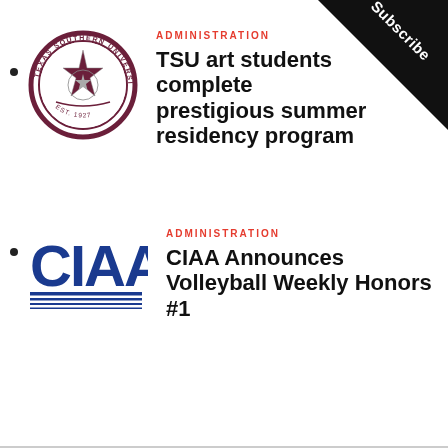[Figure (logo): Subscribe corner banner in black triangle, top-right corner]
[Figure (logo): Texas Southern University seal/logo, circular maroon seal with star and text]
ADMINISTRATION
TSU art students complete prestigious summer residency program
[Figure (logo): CIAA logo in blue with horizontal stripe lines]
ADMINISTRATION
CIAA Announces Volleyball Weekly Honors #1